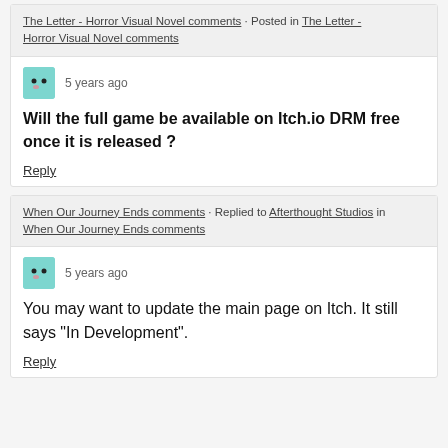The Letter - Horror Visual Novel comments · Posted in The Letter - Horror Visual Novel comments
5 years ago
Will the full game be available on Itch.io DRM free  once it is released ?
Reply
When Our Journey Ends comments · Replied to Afterthought Studios in When Our Journey Ends comments
5 years ago
You may want to update the main page on Itch. It still says "In Development".
Reply